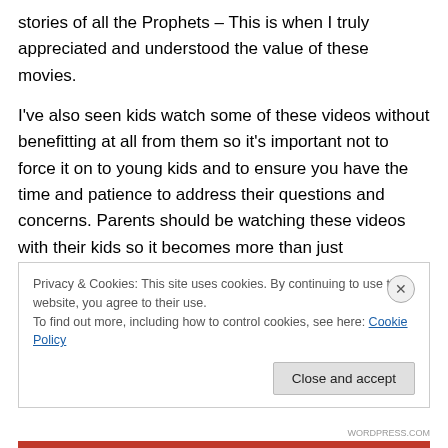stories of all the Prophets – This is when I truly appreciated and understood the value of these movies.
I've also seen kids watch some of these videos without benefitting at all from them so it's important not to force it on to young kids and to ensure you have the time and patience to address their questions and concerns. Parents should be watching these videos with their kids so it becomes more than just entertainment. I believe this applies to all types of entertainment, if you're comfortable exposing your kids to something, the least you can do is
Privacy & Cookies: This site uses cookies. By continuing to use this website, you agree to their use. To find out more, including how to control cookies, see here: Cookie Policy
WORDPRESS.COM